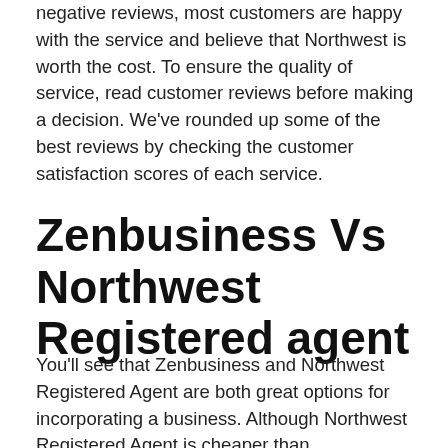negative reviews, most customers are happy with the service and believe that Northwest is worth the cost. To ensure the quality of service, read customer reviews before making a decision. We've rounded up some of the best reviews by checking the customer satisfaction scores of each service.
Zenbusiness Vs Northwest Registered agent
You'll see that Zenbusiness and Northwest Registered Agent are both great options for incorporating a business. Although Northwest Registered Agent is cheaper than